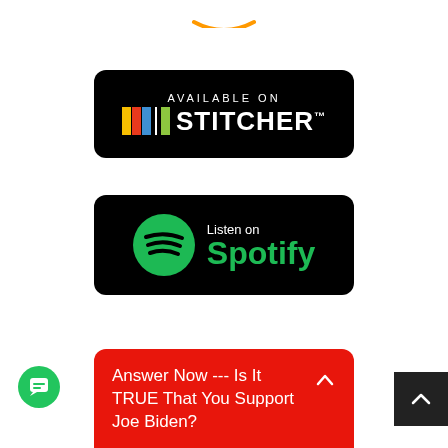[Figure (logo): Amazon logo (partial, top of page, blue arc)]
[Figure (logo): Available on Stitcher badge — black rounded rectangle with colorful bars and white STITCHER text]
[Figure (logo): Listen on Spotify badge — black rounded rectangle with green Spotify icon and green Spotify wordmark]
Answer Now --- Is It TRUE That You Support Joe Biden?
[Figure (illustration): Green circular chat button (bottom left) and dark scroll-to-top button (bottom right)]